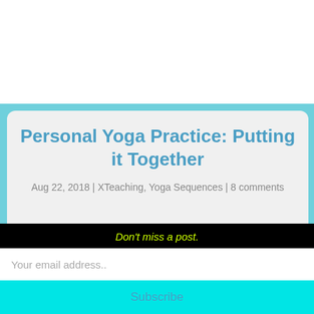Personal Yoga Practice: Putting it Together
Aug 22, 2018 | XTeaching, Yoga Sequences | 8 comments
Don't miss a post.
Your email address..
Subscribe